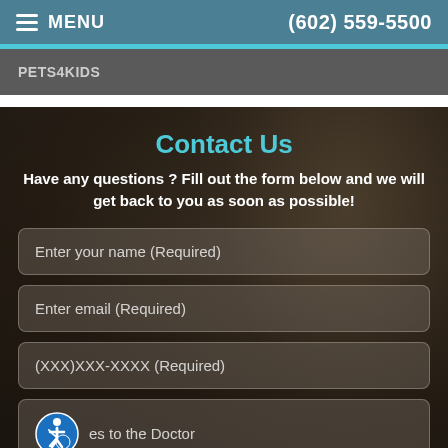MENU   (602) 559-5500
PETS4KIDS
Contact Us
Have any questions ? Fill out the form below and we will get back to you as soon as possible!
Enter your name (Required)
Enter email (Required)
(XXX)XXX-XXXX (Required)
es to the Doctor